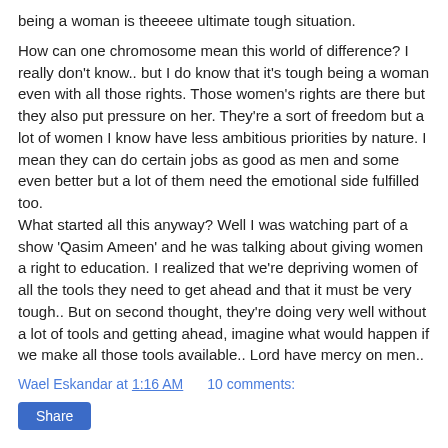being a woman is theeeee ultimate tough situation.

How can one chromosome mean this world of difference? I really don't know.. but I do know that it's tough being a woman even with all those rights. Those women's rights are there but they also put pressure on her. They're a sort of freedom but a lot of women I know have less ambitious priorities by nature. I mean they can do certain jobs as good as men and some even better but a lot of them need the emotional side fulfilled too.
What started all this anyway? Well I was watching part of a show 'Qasim Ameen' and he was talking about giving women a right to education. I realized that we're depriving women of all the tools they need to get ahead and that it must be very tough.. But on second thought, they're doing very well without a lot of tools and getting ahead, imagine what would happen if we make all those tools available.. Lord have mercy on men..
Wael Eskandar at 1:16 AM   10 comments:
Share